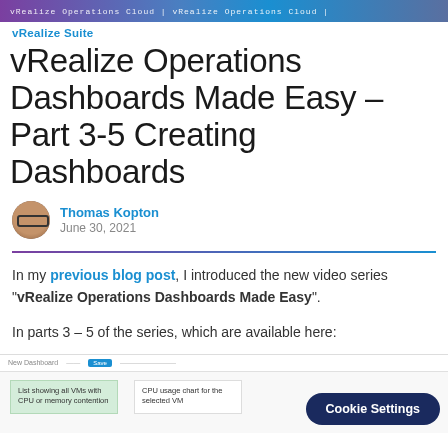vRealize Operations Cloud | vRealize Operations Cloud | vRealize Suite
vRealize Operations Dashboards Made Easy – Part 3-5 Creating Dashboards
Thomas Kopton
June 30, 2021
In my previous blog post, I introduced the new video series "vRealize Operations Dashboards Made Easy".
In parts 3 – 5 of the series, which are available here:
[Figure (screenshot): Screenshot of vRealize Operations dashboard interface showing 'List showing all VMs with CPU or memory contention' and 'CPU usage chart for the selected VM' panels, with a Cookie Settings button overlay]